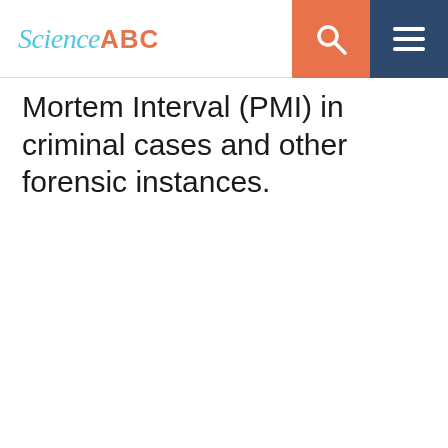Science ABC
Mortem Interval (PMI) in criminal cases and other forensic instances.